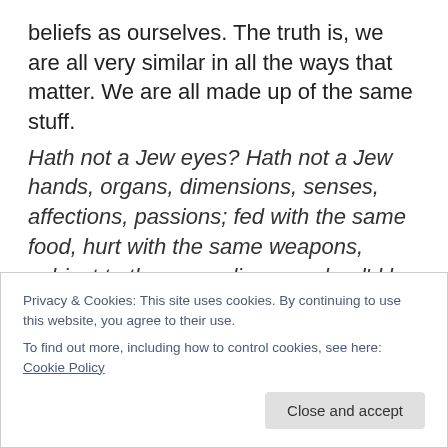beliefs as ourselves. The truth is, we are all very similar in all the ways that matter. We are all made up of the same stuff.
Hath not a Jew eyes? Hath not a Jew hands, organs, dimensions, senses, affections, passions; fed with the same food, hurt with the same weapons, subject to the same diseases, heal'd by the same means, warm'd and cool'd by the same winter and summer as a Christian is? If you prick us, do we not bleed? If you tickle us, do we not laugh? If you poison us,
Privacy & Cookies: This site uses cookies. By continuing to use this website, you agree to their use. To find out more, including how to control cookies, see here: Cookie Policy